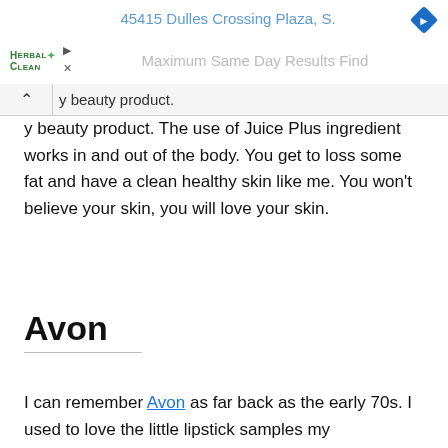45415 Dulles Crossing Plaza, S.
[Figure (screenshot): Herbal Clean logo with green leaf icon and advertisement banner showing 'Maximum Same Day Results Find' text with navigation arrow icon]
y beauty product. The use of Juice Plus ingredient works in and out of the body. You get to loss some fat and have a clean healthy skin like me. You won't believe your skin, you will love your skin.
Avon
I can remember Avon as far back as the early 70s. I used to love the little lipstick samples my